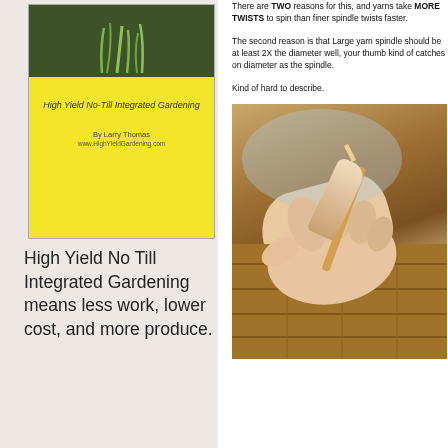[Figure (photo): Book cover of 'High Yield No-Till Integrated Gardening' with yellow background and green plant graphic at top]
High Yield No Till Integrated Gardening means less work, lower cost, and more produce.
There are TWO reasons for this, and yarns take MORE TWISTS to spin than finer spindle twists faster.
The second reason is that Large yarn spindle should be at least 2X the diameter well, your thumb kind of catches on diameter as the spindle.
Kind of hard to describe.
[Figure (photo): Photo of a hand holding a small pointed stick or spindle over a wooden floor background]